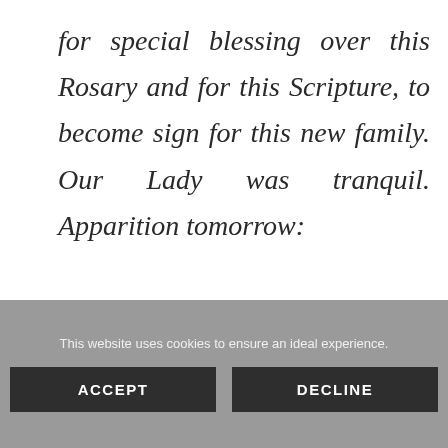for special blessing over this Rosary and for this Scripture, to become sign for this new family. Our Lady was tranquil. Apparition tomorrow:
“Same time, same place.”
This website uses cookies to ensure an ideal experience. ACCEPT DECLINE